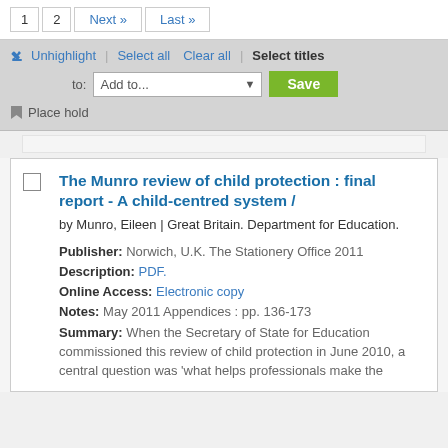1  2  Next »  Last »
Unhighlight | Select all  Clear all | Select titles
to: Add to...  Save
🔖 Place hold
The Munro review of child protection : final report - A child-centred system /
by Munro, Eileen | Great Britain. Department for Education.
Publisher: Norwich, U.K. The Stationery Office 2011
Description: PDF.
Online Access: Electronic copy
Notes: May 2011 Appendices : pp. 136-173
Summary: When the Secretary of State for Education commissioned this review of child protection in June 2010, a central question was 'what helps professionals make the